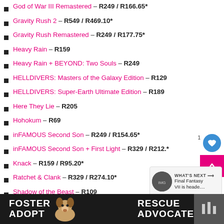God of War III Remastered – R249 / R166.65*
Gravity Rush 2 – R549 / R469.10*
Gravity Rush Remastered – R249 / R177.75*
Heavy Rain – R159
Heavy Rain + BEYOND: Two Souls – R249
HELLDIVERS: Masters of the Galaxy Edition – R129
HELLDIVERS: Super-Earth Ultimate Edition – R189
Here They Lie – R205
Hohokum – R69
inFAMOUS Second Son – R249 / R154.65*
inFAMOUS Second Son + First Light – R329 / R212.*
Knack – R159 / R95.20*
Ratchet & Clank – R329 / R274.10*
Shadow of the Beast – R109
Super Stardust Ultra – R89
Super Stardust Ultra VR – R205